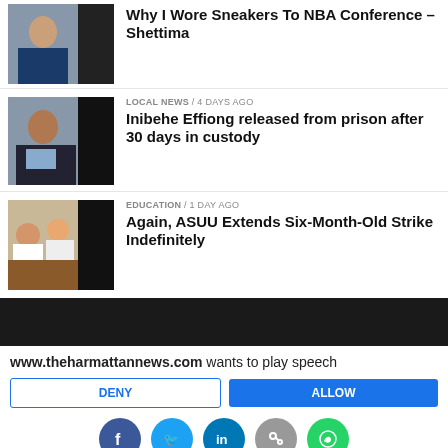[Figure (photo): Thumbnail photo of a man in a suit]
Why I Wore Sneakers To NBA Conference – Shettima
[Figure (photo): Thumbnail photo of a man in a suit with tie]
LOCAL NEWS / 4 days ago
Inibehe Effiong released from prison after 30 days in custody
[Figure (photo): Thumbnail photo of people in a meeting]
EDUCATION / 1 day ago
Again, ASUU Extends Six-Month-Old Strike Indefinitely
[Figure (screenshot): Black banner bar]
www.theharmattannews.com wants to play speech
DENY | ALLOW
[Figure (infographic): Social media share icons: Facebook, Twitter, LinkedIn, Link, WhatsApp]